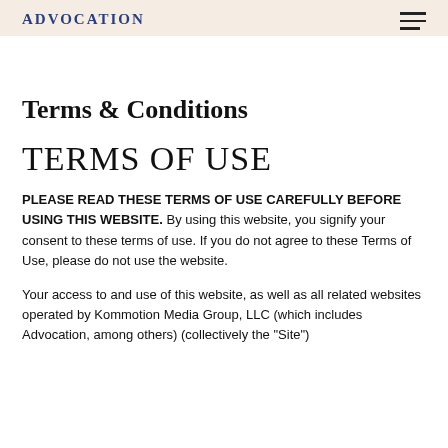ADVOCATION
Terms & Conditions
TERMS OF USE
PLEASE READ THESE TERMS OF USE CAREFULLY BEFORE USING THIS WEBSITE. By using this website, you signify your consent to these terms of use. If you do not agree to these Terms of Use, please do not use the website.
Your access to and use of this website, as well as all related websites operated by Kommotion Media Group, LLC (which includes Advocation, among others) (collectively the "Site")